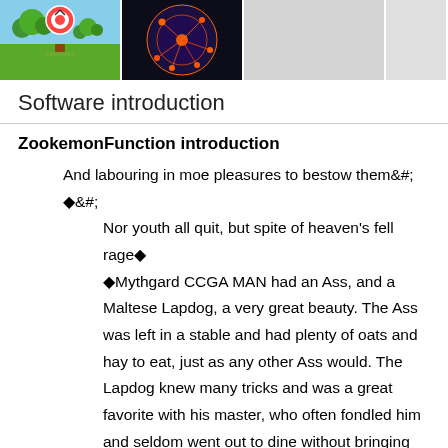[Figure (screenshot): Three app/game screenshots at the top: a cartoon game scene with sky and grass, a dark network/brain visualization, and a gray placeholder image, with a partial fourth image.]
Software introduction
ZookemonFunction introduction
And labouring in moe pleasures to bestow them&#;
◆&#;
    Nor youth all quit, but spite of heaven's fell rage◆
    ◆Mythgard CCGA MAN had an Ass, and a Maltese Lapdog, a very great beauty. The Ass was left in a stable and had plenty of oats and hay to eat, just as any other Ass would. The Lapdog knew many tricks and was a great favorite with his master, who often fondled him and seldom went out to dine without bringing him home some